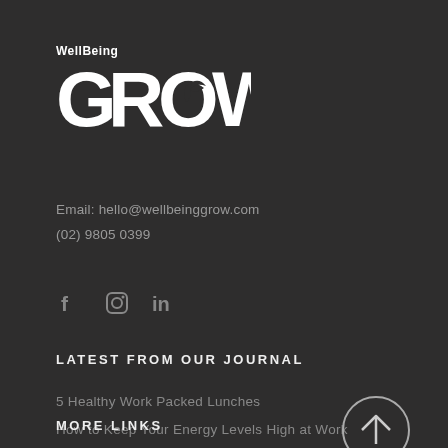[Figure (logo): WellBeing GROW logo — white text on dark background, stylized bird in the O of GROW]
Email: hello@wellbeinggrow.com
(02) 9805 0399
[Figure (infographic): Social media icons: Facebook (f), Instagram (circle), LinkedIn (in)]
LATEST FROM OUR JOURNAL
5 Healthy Work Packed Lunches
How to Keep Your Energy Levels High at Work
[Figure (illustration): Circle with upward arrow icon (scroll to top button)]
MORE LINKS